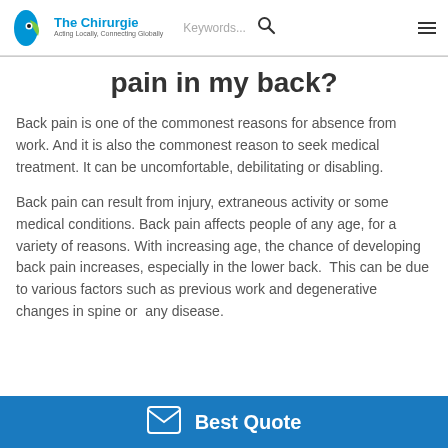The Chirurgie — Acting Locally, Connecting Globally
pain in my back?
Back pain is one of the commonest reasons for absence from work. And it is also the commonest reason to seek medical treatment. It can be uncomfortable, debilitating or disabling.
Back pain can result from injury, extraneous activity or some medical conditions. Back pain affects people of any age, for a variety of reasons. With increasing age, the chance of developing back pain increases, especially in the lower back. This can be due to various factors such as previous work and degenerative changes in spine or any disease.
Best Quote